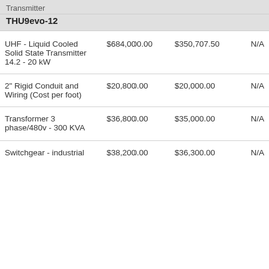| Transmitter |  |  |  |
| --- | --- | --- | --- |
| THU9evo-12 |  |  |  |
| UHF - Liquid Cooled Solid State Transmitter 14.2 - 20 kW | $684,000.00 | $350,707.50 | N/A |
| 2" Rigid Conduit and Wiring (Cost per foot) | $20,800.00 | $20,000.00 | N/A |
| Transformer 3 phase/480v - 300 KVA | $36,800.00 | $35,000.00 | N/A |
| Switchgear - industrial | $38,200.00 | $36,300.00 | N/A |